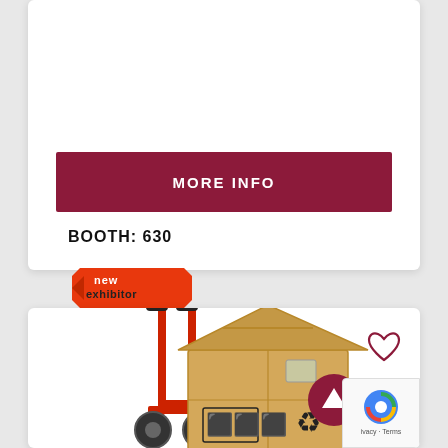MORE INFO
BOOTH: 630
[Figure (logo): New Exhibitor badge/label in red-orange with text 'new exhibitor']
[Figure (photo): A cardboard box shaped like a house loaded on a red hand truck/dolly, on white background]
[Figure (other): Heart outline icon (favorite/wishlist button)]
[Figure (other): Red circular scroll-to-top button with white upward arrow]
[Figure (other): Google reCAPTCHA widget partially visible, with 'ivacy - Terms' text]